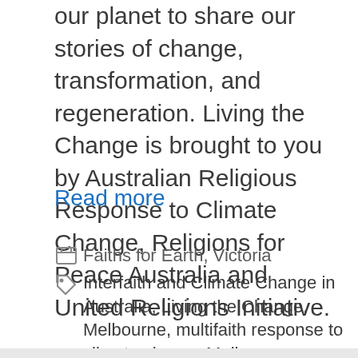our planet to share our stories of change, transformation, and regeneration. Living the Change is brought to you by Australian Religious Response to Climate Change, Religions for Peace Australia and United Religions Initiative.
Read more
Faiths for Earth, Victoria
Interfaith and Climate Change in Australia, Living the Change, Melbourne, multifaith response to climate change Melbourne